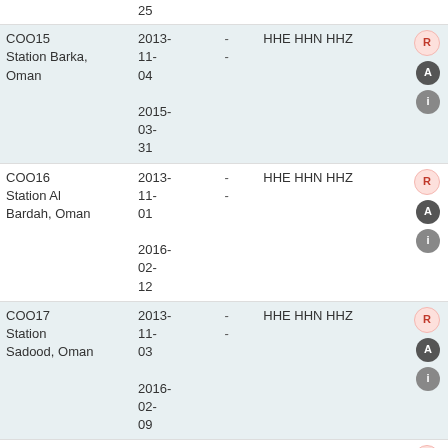| Station | Dates | - | Channels | Actions |
| --- | --- | --- | --- | --- |
| 25 |  |  |  |  |
| COO15
Station Barka, Oman | 2013-11-04
2015-03-31 | -
- | HHE HHN HHZ | R A i |
| COO16
Station Al Bardah, Oman | 2013-11-01
2016-02-12 | -
- | HHE HHN HHZ | R A i |
| COO17
Station Sadood, Oman | 2013-11-03
2016-02-09 | -
- | HHE HHN HHZ | R A i |
| COO18
Station Hamra Al Drooa, Oman | 2013-11-02
2014- | -
- | HHE HHN HHZ | R A i |